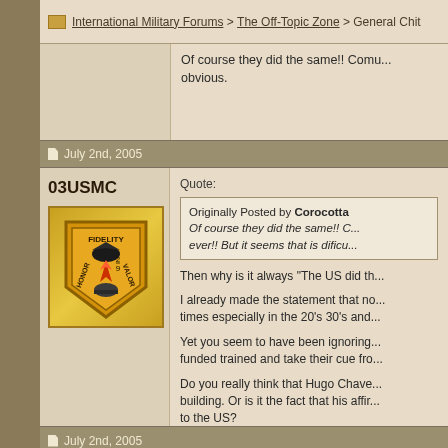International Military Forums > The Off-Topic Zone > General Chit
Of course they did the same!! Comu... obvious.
July 2nd, 2005
03USMC
[Figure (logo): USMC shield badge with Fidelity Honor Valor text, eagle and rocket insignia, gold/orange colors]
Quote: Originally Posted by Corocotta Of course they did the same!! C... ever!! But it seems that is dificu...
Then why is it always "The US did th...
I already made the statement that no... times especially in the 20's 30's and...
Yet you seem to have been ignoring... funded trained and take their cue fro...
Do you really think that Hugo Chave... building. Or is it the fact that his affir... to the US?
July 2nd, 2005